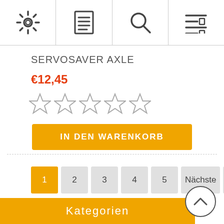[Figure (screenshot): Top navigation bar with four icons: settings gear, document/menu lines, search magnifier, and filter/list icon]
SERVOSAVER AXLE
€12,45
[Figure (other): Five empty star rating icons]
IN DEN WARENKORB
1
2
3
4
5
Nächste
Letzte
Kategorien